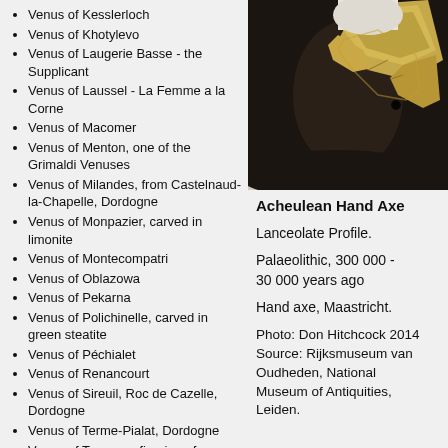Venus of Kesslerloch
Venus of Khotylevo
Venus of Laugerie Basse - the Supplicant
Venus of Laussel - La Femme a la Corne
Venus of Macomer
Venus of Menton, one of the Grimaldi Venuses
Venus of Milandes, from Castelnaud-la-Chapelle, Dordogne
Venus of Monpazier, carved in limonite
Venus of Montecompatri
Venus of Oblazowa
Venus of Pekarna
Venus of Polichinelle, carved in green steatite
Venus of Péchialet
Venus of Renancourt
Venus of Sireuil, Roc de Cazelle, Dordogne
Venus of Terme-Pialat, Dordogne
Venus of Tursac, a figurine of translucent calcite
Venus of Willendorf
Venus of Zaraysk / Зарайск Венера, part of the Kostenki-Willendorf culture
[Figure (photo): Close-up photo of an Acheulean Hand Axe showing lanceolate profile, dark stone with lighter flaked edges, photographed at Rijksmuseum van Oudheden, Leiden.]
Acheulean Hand Axe
Lanceolate Profile.
Palaeolithic, 300 000 - 30 000 years ago
Hand axe, Maastricht.
Photo: Don Hitchcock 2014 Source: Rijksmuseum van Oudheden, National Museum of Antiquities, Leiden.